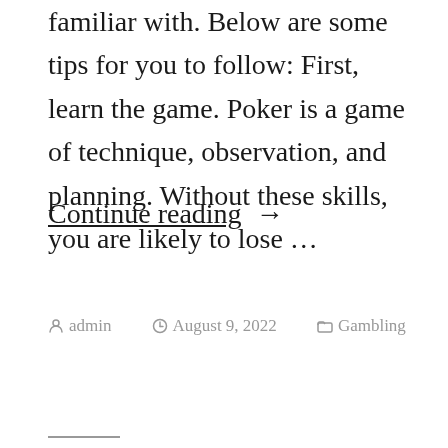familiar with. Below are some tips for you to follow: First, learn the game. Poker is a game of technique, observation, and planning. Without these skills, you are likely to lose …
Continue reading →
by admin  August 9, 2022  Gambling